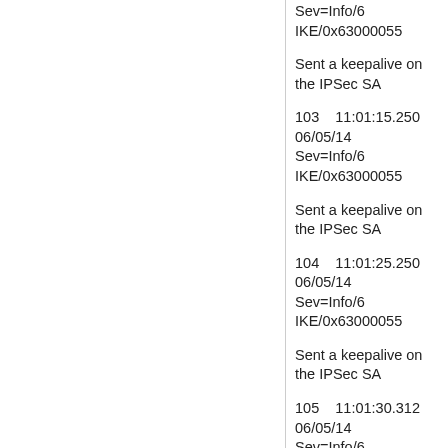Sev=Info/6 IKE/0x63000055
Sent a keepalive on the IPSec SA
103    11:01:15.250  06/05/14
Sev=Info/6 IKE/0x63000055
Sent a keepalive on the IPSec SA
104    11:01:25.250  06/05/14
Sev=Info/6 IKE/0x63000055
Sent a keepalive on the IPSec SA
105    11:01:30.312  06/05/14
Sev=Info/6 GUI/0x63B0000D
Disconnecting VPN connection.
106    11:01:30.312  06/05/14
Sev=Info/4 CM/0x63100006
Abort connection attempt before Phase 1 SA up
107    11:01:30.312  06/05/14